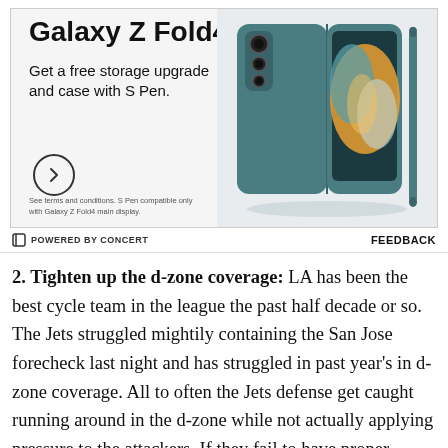[Figure (photo): Samsung Galaxy Z Fold4 advertisement showing teal/green phone with S Pen case. Text: 'Galaxy Z Fold4 - Get a free storage upgrade and case with S Pen.' with a circular arrow button and fine print about terms and conditions.]
POWERED BY CONCERT
FEEDBACK
2. Tighten up the d-zone coverage: LA has been the best cycle team in the league the past half decade or so. The Jets struggled mightily containing the San Jose forecheck last night and has struggled in past year's in d-zone coverage. All to often the Jets defense get caught running around in the d-zone while not actually applying pressure to the attackers. If they fail to have proper coverage against the big strong Kings they will